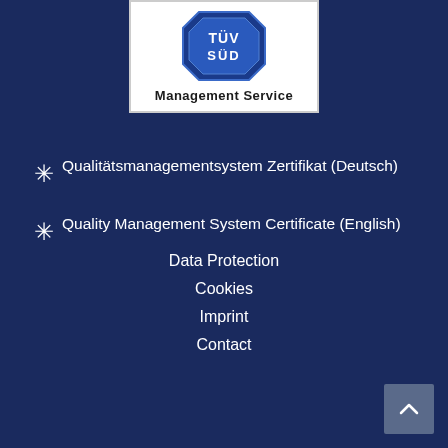[Figure (logo): TÜV SÜD Management Service logo with blue hexagon/octagon shape on white background with text 'Management Service']
Qualitätsmanagementsystem Zertifikat (Deutsch)
Quality Management System Certificate (English)
Data Protection
Cookies
Imprint
Contact